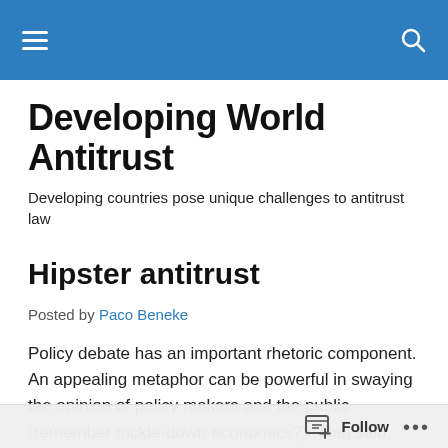Developing World Antitrust [navigation bar]
Developing World Antitrust
Developing countries pose unique challenges to antitrust law
Hipster antitrust
Posted by Paco Beneke
Policy debate has an important rhetoric component. An appealing metaphor can be powerful in swaying the opinion of policy makers and the public (remember trickle-down economics?). That said, there is a recent trend in the US and other parts of the world to depart from certain
Follow ...